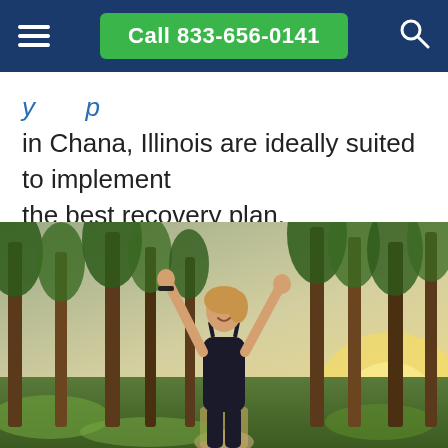Call 833-656-0141
in Chana, Illinois are ideally suited to implement the best recovery plan.
[Figure (photo): A smiling woman with arms raised in a forest, wearing a black sports top, with tall pine trees and sunset light in the background.]